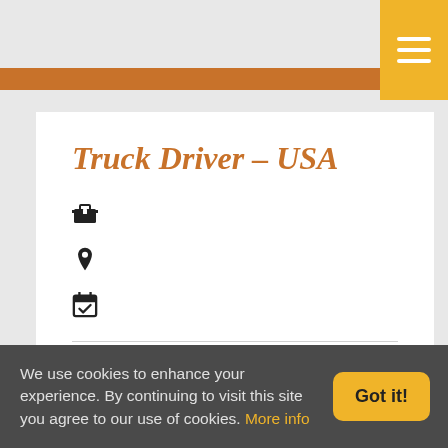Truck Driver – USA
[Figure (illustration): Job posting page with briefcase, location pin, and calendar icons, orange header bar, hamburger menu]
For clients in the United States we are looking for Truck Drivers  that will be responsible for transporting varoius types of
We use cookies to enhance your experience. By continuing to visit this site you agree to our use of cookies. More info